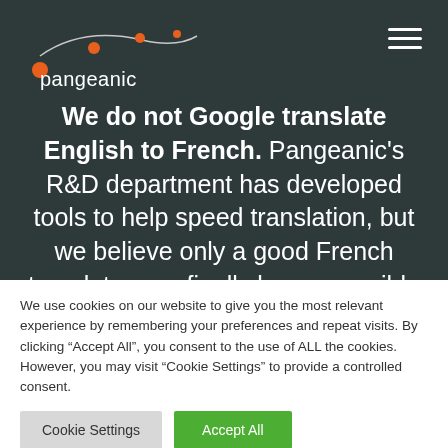[Figure (logo): Pangeanic logo: orange dots connected by curved lines above the word 'pangeanic' in white text]
We do not Google translate English to French. Pangeanic's R&D department has developed tools to help speed translation, but we believe only a good French translator can finally be responsible for a final version. That is
We use cookies on our website to give you the most relevant experience by remembering your preferences and repeat visits. By clicking “Accept All”, you consent to the use of ALL the cookies. However, you may visit "Cookie Settings" to provide a controlled consent.
Cookie Settings | Accept All